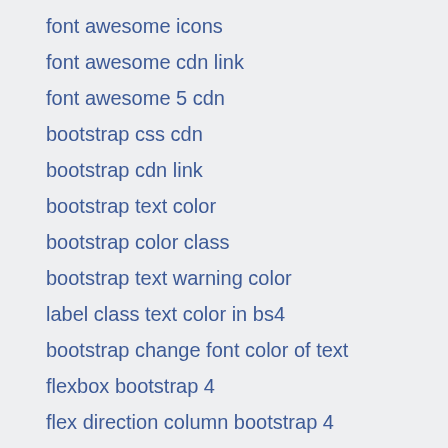font awesome icons
font awesome cdn link
font awesome 5 cdn
bootstrap css cdn
bootstrap cdn link
bootstrap text color
bootstrap color class
bootstrap text warning color
label class text color in bs4
bootstrap change font color of text
flexbox bootstrap 4
flex direction column bootstrap 4
bootstrap center divs
bootstrap 5 justify content